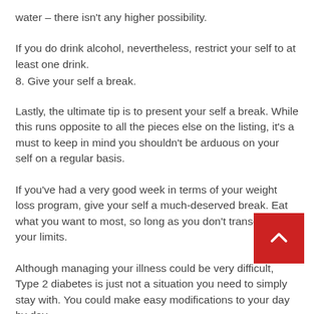water – there isn't any higher possibility.
If you do drink alcohol, nevertheless, restrict your self to at least one drink.
8. Give your self a break.
Lastly, the ultimate tip is to present your self a break. While this runs opposite to all the pieces else on the listing, it's a must to keep in mind you shouldn't be arduous on your self on a regular basis.
If you've had a very good week in terms of your weight loss program, give your self a much-deserved break. Eat what you want to most, so long as you don't transcend your limits.
Although managing your illness could be very difficult, Type 2 diabetes is just not a situation you need to simply stay with. You could make easy modifications to your day by day